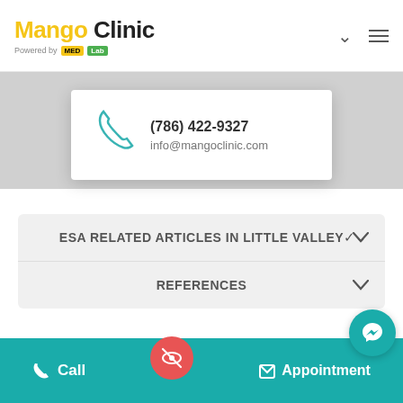[Figure (logo): Mango Clinic logo with 'Powered by MED Lab' text]
[Figure (infographic): Contact info popup card showing phone (786) 422-9327 and email info@mangoclinic.com with teal phone icon]
ESA RELATED ARTICLES IN Little Valley
REFERENCES
[Figure (screenshot): Get Your ESA Letter button (teal), back-to-top orange button]
Call   Appointment